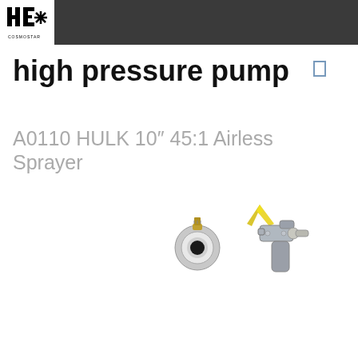[Figure (logo): HE Cosmostar logo — white background with stylized HE letters and asterisk/star symbol, black text on white, inside dark grey header bar]
high pressure pump
A0110 HULK 10″ 45:1 Airless Sprayer
[Figure (photo): Product photo showing two airless sprayer components: a round pump fitting/connector on the left and a spray gun with yellow tip/nozzle fan on the right]